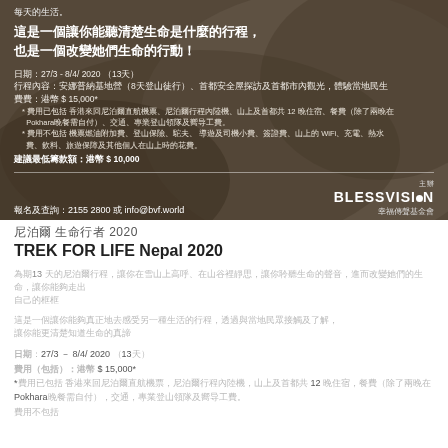[Figure (photo): Banner image with mountain trekking background, overlaid with Chinese and English text about Trek for Life Nepal 2020 program details including dates, itinerary, fees and contact information.]
尼泊爾 生命行者2020
TREK FOR LIFE Nepal 2020
為期13 天的尼泊爾行程，讓你在雪山上高呼、在山谷裡靜思，讓你聆聽生命的聲音，進而改變她們的生命
這是一個讓你能聽清楚生命是什麼的行程，也是一個改變她們生命的行動！
日期：27/3 － 8/4/ 2020（13天）
費用：港幣 $ 15,000*
*費用已包括 香港來回尼泊爾直航機票，尼泊爾行程內陸機，山上及首都共 12 晚住宿，餐費（除了兩晚在Pokhara晚餐需自付），交通，專業登山領隊及嚮导工費。